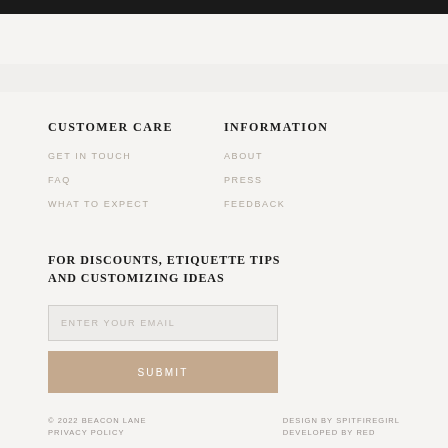CUSTOMER CARE
GET IN TOUCH
FAQ
WHAT TO EXPECT
INFORMATION
ABOUT
PRESS
FEEDBACK
FOR DISCOUNTS, ETIQUETTE TIPS AND CUSTOMIZING IDEAS
ENTER YOUR EMAIL
SUBMIT
© 2022 BEACON LANE PRIVACY POLICY
DESIGN BY SPITFIREGIRL DEVELOPED BY RED